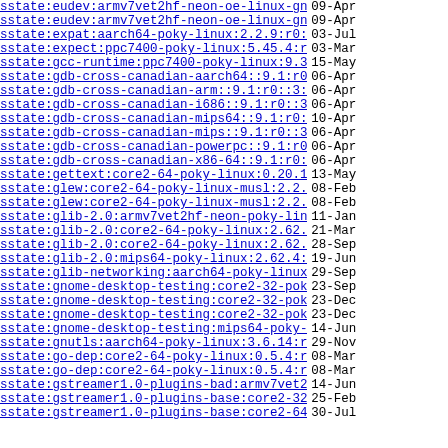sstate:eudev:armv7vet2hf-neon-oe-linux-gnueabi:..> 09-Apr
sstate:eudev:armv7vet2hf-neon-oe-linux-gnueabi:..> 09-Apr
sstate:expat:aarch64-poky-linux:2.2.9:r0:aarch6..> 03-Jul
sstate:expect:ppc7400-poky-linux:5.45.4:r0:ppc7..> 03-Mar
sstate:gcc-runtime:ppc7400-poky-linux:9.3.0:r0:..> 15-May
sstate:gdb-cross-canadian-aarch64::9.1:r0::3:9a..> 06-Apr
sstate:gdb-cross-canadian-arm::9.1:r0::3:9ae864..> 06-Apr
sstate:gdb-cross-canadian-i686::9.1:r0::3:9ae86..> 06-Apr
sstate:gdb-cross-canadian-mips64::9.1:r0::3:9ae..> 10-Apr
sstate:gdb-cross-canadian-mips::9.1:r0::3:9ae86..> 06-Apr
sstate:gdb-cross-canadian-powerpc::9.1:r0::3:9a..> 06-Apr
sstate:gdb-cross-canadian-x86-64::9.1:r0::3:9ae..> 06-Apr
sstate:gettext:core2-64-poky-linux:0.20.1:r0:co..> 13-May
sstate:glew:core2-64-poky-linux-musl:2.2.0:r0:c..> 08-Feb
sstate:glew:core2-64-poky-linux-musl:2.2.0:r0:c..> 08-Feb
sstate:glib-2.0:armv7vet2hf-neon-poky-linux-gnu..> 11-Jan
sstate:glib-2.0:core2-64-poky-linux:2.62.6:r0:c..> 21-Mar
sstate:glib-2.0:core2-64-poky-linux:2.62.6:r0:c..> 28-Sep
sstate:glib-2.0:mips64-poky-linux:2.62.4:r0:mip..> 19-Jun
sstate:glib-networking:aarch64-poky-linux:2.62...> 29-Sep
sstate:gnome-desktop-testing:core2-32-poky-linu..> 23-Sep
sstate:gnome-desktop-testing:core2-32-poky-linu..> 23-Dec
sstate:gnome-desktop-testing:core2-32-poky-linu..> 23-Dec
sstate:gnome-desktop-testing:mips64-poky-linux:..> 14-Jun
sstate:gnutls:aarch64-poky-linux:3.6.14:r0:aarc..> 29-Nov
sstate:go-dep:core2-64-poky-linux:0.5.4:r0:core..> 08-Mar
sstate:go-dep:core2-64-poky-linux:0.5.4:r0:core..> 08-Mar
sstate:gstreamer1.0-plugins-bad:armv7vet2hf-neo..> 14-Jun
sstate:gstreamer1.0-plugins-base:core2-32-poky-..> 25-Feb
sstate:gstreamer1.0-plugins-base:core2-64-poky-..> 30-Jul